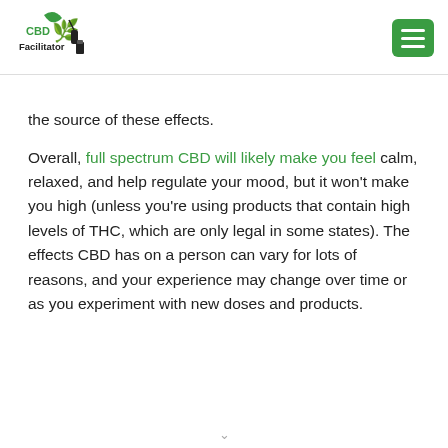CBD Facilitator
the source of these effects.
Overall, full spectrum CBD will likely make you feel calm, relaxed, and help regulate your mood, but it won’t make you high (unless you’re using products that contain high levels of THC, which are only legal in some states). The effects CBD has on a person can vary for lots of reasons, and your experience may change over time or as you experiment with new doses and products.